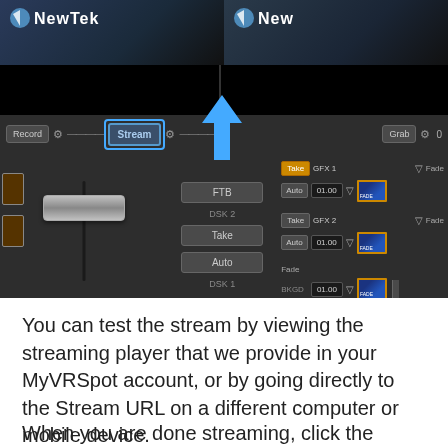[Figure (screenshot): Screenshot of NewTek TriCaster video switcher software interface showing the Stream button highlighted with a blue border and a blue upward-pointing arrow. The interface shows Record, Stream, Grab buttons in the control bar, T-bar fader, FTB button, Take and Auto buttons, DSK 1 and DSK 2 controls, GFX 1 and GFX 2 rows, and BKGD Fade row. Bottom shows Graphics 2 and Audio Mixer tabs.]
You can test the stream by viewing the streaming player that we provide in your MyVRSpot account, or by going directly to the Stream URL on a different computer or mobile device.
When you are done streaming, click the Stream button